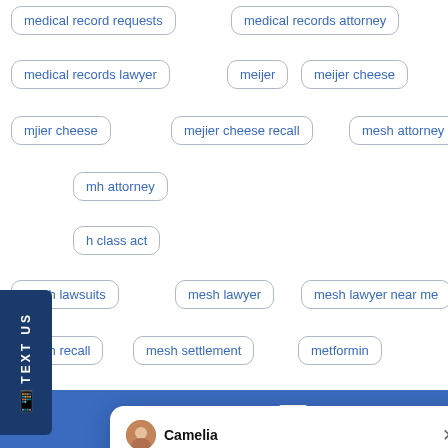medical record requests
medical records attorney
medical records lawyer
meijer
meijer cheese
mjier cheese
mejier cheese recall
mesh attorney
mh attorney
h class act
mesh lawsuits
mesh lawyer
mesh lawyer near me
mesh recall
mesh settlement
metformin
[Figure (screenshot): Live chat popup from Borgess Law LLC with agent named Camelia saying 'Welcome to Borgess Law, LLC! How can we help you?' with notification badge showing 1, agent photo with green online dot, and Online Agent label]
TEXT US
LIVE CHAT